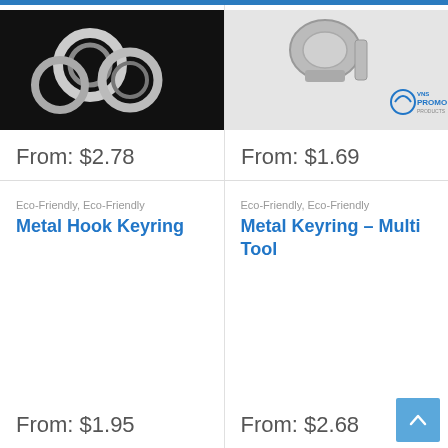[Figure (photo): Partial top view of metal hook keyrings on a dark/black background]
From: $2.78
[Figure (photo): Partial top view of metal multi-tool keyring on light background with VNS Promo Products logo]
From: $1.69
Eco-Friendly, Eco-Friendly
Metal Hook Keyring
From: $1.95
Eco-Friendly, Eco-Friendly
Metal Keyring – Multi Tool
From: $2.68